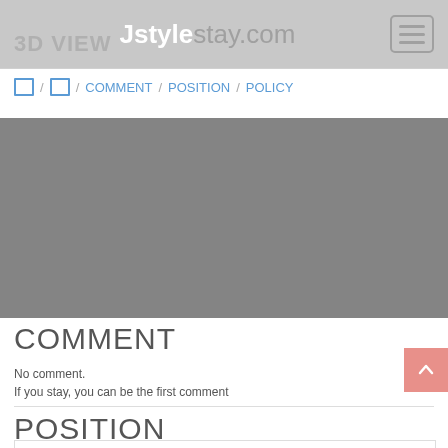3D VIEW Jstylestay.com
□□ / □□ / COMMENT / POSITION / POLICY
[Figure (photo): Gray placeholder image area representing a property or accommodation photo]
COMMENT
No comment.
If you stay, you can be the first comment
POSITION